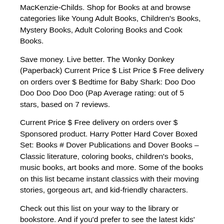MacKenzie-Childs. Shop for Books at and browse categories like Young Adult Books, Children's Books, Mystery Books, Adult Coloring Books and Cook Books.
Save money. Live better. The Wonky Donkey (Paperback) Current Price $ List Price $ Free delivery on orders over $ Bedtime for Baby Shark: Doo Doo Doo Doo Doo Doo (Pap Average rating: out of 5 stars, based on 7 reviews.
Current Price $ Free delivery on orders over $ Sponsored product. Harry Potter Hard Cover Boxed Set: Books # Dover Publications and Dover Books – Classic literature, coloring books, children's books, music books, art books and more. Some of the books on this list became instant classics with their moving stories, gorgeous art, and kid-friendly characters.
Check out this list on your way to the library or bookstore. And if you'd prefer to see the latest kids' offerings, take a look at our list of New Children's Books Starfall is an educational alternative to other entertainment choices for children and is especially effective for special education, homeschooling, and English language development